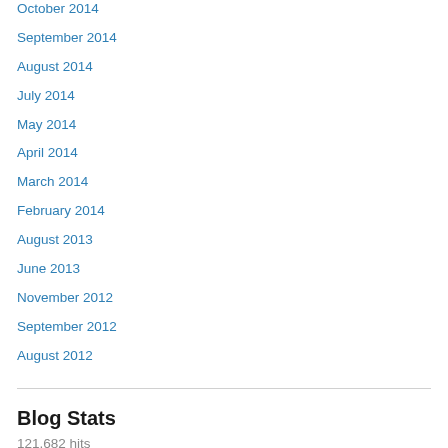October 2014
September 2014
August 2014
July 2014
May 2014
April 2014
March 2014
February 2014
August 2013
June 2013
November 2012
September 2012
August 2012
Blog Stats
121,682 hits